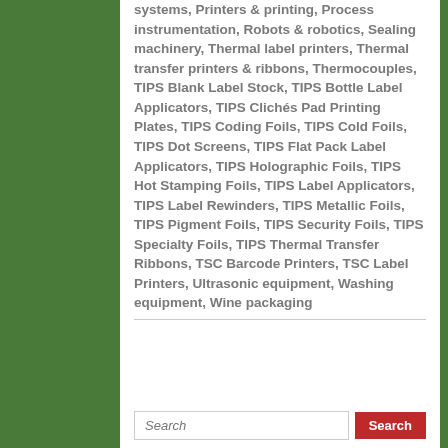systems, Printers & printing, Process instrumentation, Robots & robotics, Sealing machinery, Thermal label printers, Thermal transfer printers & ribbons, Thermocouples, TIPS Blank Label Stock, TIPS Bottle Label Applicators, TIPS Clichés Pad Printing Plates, TIPS Coding Foils, TIPS Cold Foils, TIPS Dot Screens, TIPS Flat Pack Label Applicators, TIPS Holographic Foils, TIPS Hot Stamping Foils, TIPS Label Applicators, TIPS Label Rewinders, TIPS Metallic Foils, TIPS Pigment Foils, TIPS Security Foils, TIPS Specialty Foils, TIPS Thermal Transfer Ribbons, TSC Barcode Printers, TSC Label Printers, Ultrasonic equipment, Washing equipment, Wine packaging